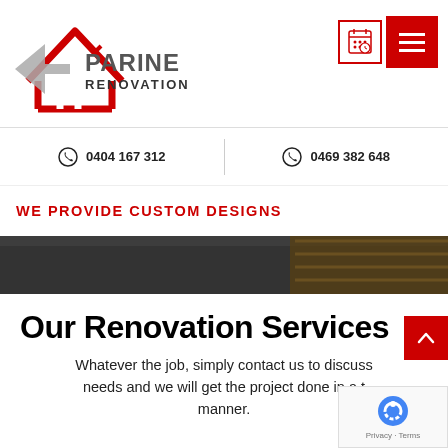[Figure (logo): Parine Renovation logo with red house outline and grey arrow shapes, with company name text]
[Figure (other): Navigation icons: calendar/quote icon in red border box, and red hamburger menu button]
0404 167 312
0469 382 648
WE PROVIDE CUSTOM DESIGNS
[Figure (photo): Interior renovation photo showing wooden panels/flooring detail in dark tones]
Our Renovation Services
Whatever the job, simply contact us to discuss needs and we will get the project done in a timely manner.